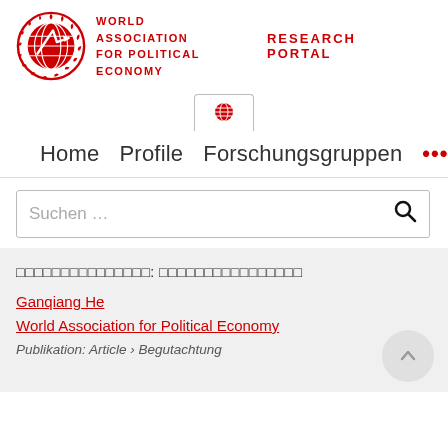[Figure (logo): World Association for Political Economy logo: red globe with laurel wreath and arrow, circular emblem]
WORLD ASSOCIATION FOR POLITICAL ECONOMY   RESEARCH PORTAL
[Figure (logo): Small red globe icon in a tab/button]
Home   Profile   Forschungsgruppen   ...
Suchen ...
□□□□□□□□□□□□□□□: □□□□□□□□□□□□□□□□
Ganqiang He
World Association for Political Economy
Publikation: Article › Begutachtung